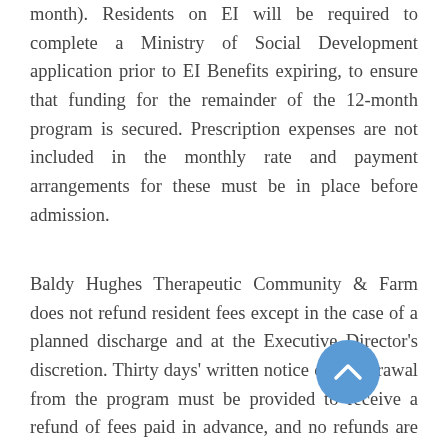month). Residents on EI will be required to complete a Ministry of Social Development application prior to EI Benefits expiring, to ensure that funding for the remainder of the 12-month program is secured. Prescription expenses are not included in the monthly rate and payment arrangements for these must be in place before admission.
Baldy Hughes Therapeutic Community & Farm does not refund resident fees except in the case of a planned discharge and at the Executive Director's discretion. Thirty days' written notice of withdrawal from the program must be provided to receive a refund of fees paid in advance, and no refunds are provided for a partial month. Refunds are made only to the person or organization that directly paid the